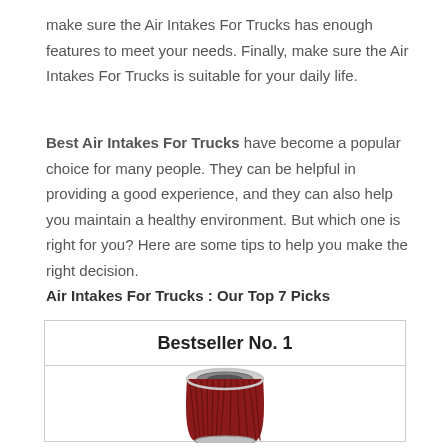make sure the Air Intakes For Trucks has enough features to meet your needs. Finally, make sure the Air Intakes For Trucks is suitable for your daily life.
Best Air Intakes For Trucks have become a popular choice for many people. They can be helpful in providing a good experience, and they can also help you maintain a healthy environment. But which one is right for you? Here are some tips to help you make the right decision.
Air Intakes For Trucks : Our Top 7 Picks
[Figure (photo): Product box showing 'Bestseller No. 1' with a photo of a red cone air intake filter with chrome top rim]